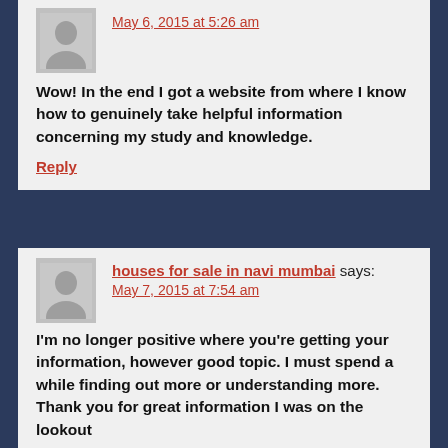May 6, 2015 at 5:26 am
Wow! In the end I got a website from where I know how to genuinely take helpful information concerning my study and knowledge.
Reply
houses for sale in navi mumbai says: May 7, 2015 at 7:54 am
I'm no longer positive where you're getting your information, however good topic. I must spend a while finding out more or understanding more. Thank you for great information I was on the lookout